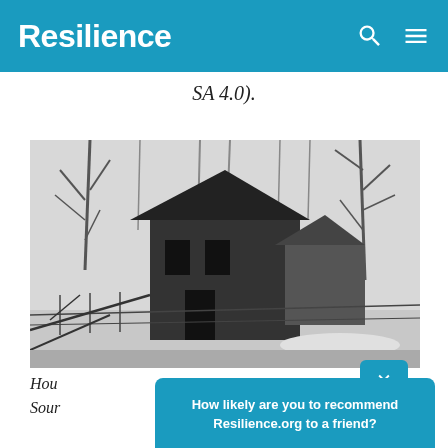Resilience
SA 4.0).
[Figure (photo): Black and white photograph of a house with bare trees in the background, taken outdoors in winter or early spring.]
Hou... ion. Sour... (CC–
How likely are you to recommend Resilience.org to a friend? Reply